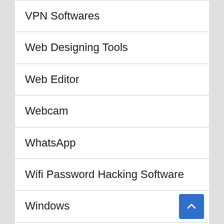VPN Softwares
Web Designing Tools
Web Editor
Webcam
WhatsApp
Wifi Password Hacking Software
Windows
Wirecast